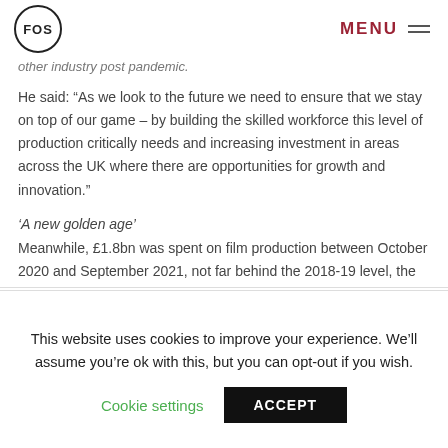FOS | MENU
other industry post pandemic.
He said: “As we look to the future we need to ensure that we stay on top of our game – by building the skilled workforce this level of production critically needs and increasing investment in areas across the UK where there are opportunities for growth and innovation.”
‘A new golden age’
Meanwhile, £1.8bn was spent on film production between October 2020 and September 2021, not far behind the 2018-19 level, the BFI said.
This website uses cookies to improve your experience. We’ll assume you’re ok with this, but you can opt-out if you wish.
Cookie settings  ACCEPT